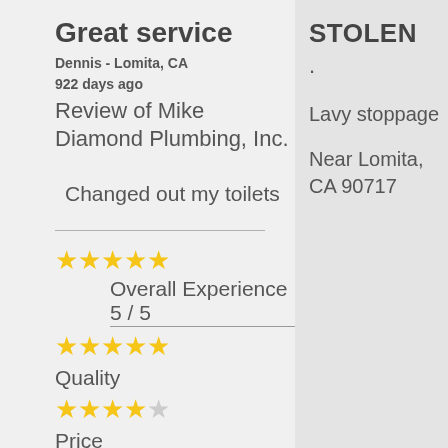Great service
Dennis - Lomita, CA
922 days ago
Review of Mike Diamond Plumbing, Inc.
Changed out my toilets
STOLEN
.
Lavy stoppage
Near Lomita, CA 90717
Overall Experience 5 / 5
Quality
Price